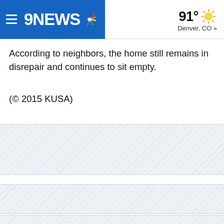9NEWS | 91° Denver, CO »
According to neighbors, the home still remains in disrepair and continues to sit empty.
(© 2015 KUSA)
[Figure (other): Three hatched advertisement placeholder bands at the bottom of the page]
[Figure (other): Second hatched advertisement placeholder band]
[Figure (other): Third hatched advertisement placeholder band at very bottom]